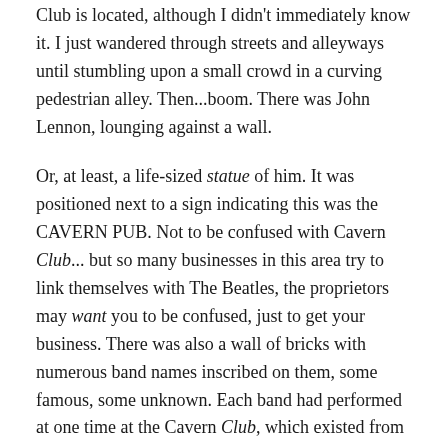Club is located, although I didn't immediately know it. I just wandered through streets and alleyways until stumbling upon a small crowd in a curving pedestrian alley. Then...boom. There was John Lennon, lounging against a wall.
Or, at least, a life-sized statue of him. It was positioned next to a sign indicating this was the CAVERN PUB. Not to be confused with Cavern Club... but so many businesses in this area try to link themselves with The Beatles, the proprietors may want you to be confused, just to get your business. There was also a wall of bricks with numerous band names inscribed on them, some famous, some unknown. Each band had performed at one time at the Cavern Club, which existed from 1957 till 1973.